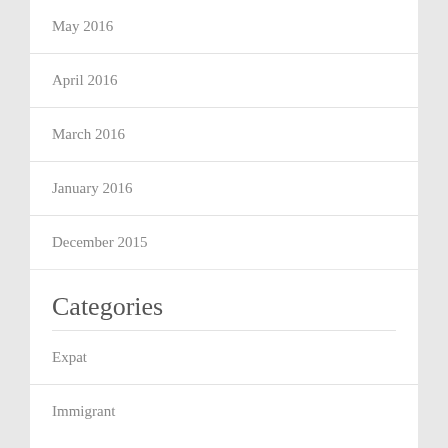May 2016
April 2016
March 2016
January 2016
December 2015
Categories
Expat
Immigrant